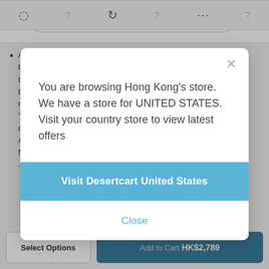[Figure (screenshot): Mobile e-commerce app navigation bar with hamburger menu, search box labeled 'Search for any product...', and shopping cart icon]
A... b... t... t... m... " c... A... N...  ...  (partially visible background text behind modal overlay)
You are browsing Hong Kong's store. We have a store for UNITED STATES. Visit your country store to view latest offers
Visit Desertcart United States
Close
Select Options
Add to Cart HK$2,789